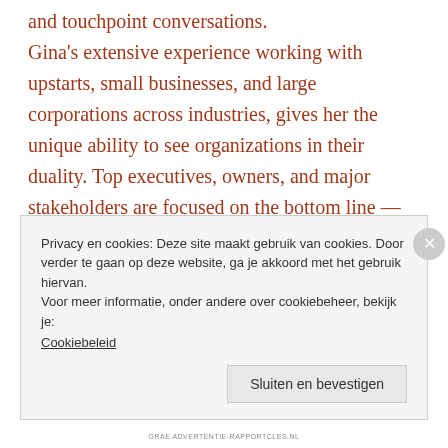and touchpoint conversations. Gina's extensive experience working with upstarts, small businesses, and large corporations across industries, gives her the unique ability to see organizations in their duality. Top executives, owners, and major stakeholders are focused on the bottom line—productivity and profitability. People at the grassroots level, who grapple with work-life balance and career development, are either partly engaged or completely disengaged. Gina's strength and
Privacy en cookies: Deze site maakt gebruik van cookies. Door verder te gaan op deze website, ga je akkoord met het gebruik hiervan. Voor meer informatie, onder andere over cookiebeheer, bekijk je: Cookiebeleid
Sluiten en bevestigen